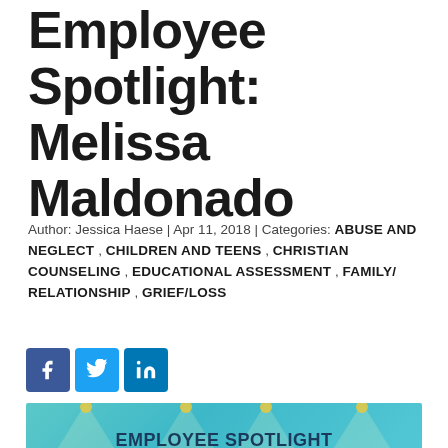Employee Spotlight: Melissa Maldonado
Author: Jessica Haese | Apr 11, 2018 | Categories: ABUSE AND NEGLECT , CHILDREN AND TEENS , CHRISTIAN COUNSELING , EDUCATIONAL ASSESSMENT , FAMILY/ RELATIONSHIP , GRIEF/LOSS
[Figure (other): Social media share icons: Facebook, Twitter, LinkedIn]
[Figure (other): Employee Spotlight banner image with spotlights: EMPLOYEE SPOTLIGHT MELISSA MALDONADO WE VALUE YOU!]